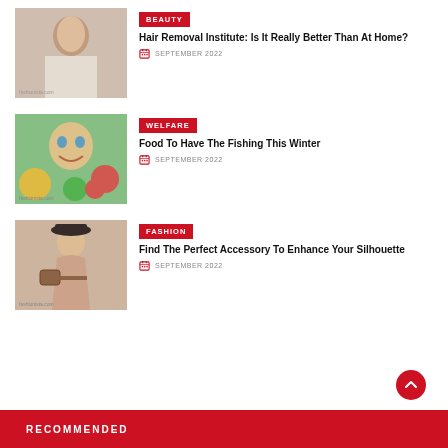[Figure (photo): Woman in white doing hair/beauty routine]
BEAUTY
Hair Removal Institute: Is It Really Better Than At Home?
SEPTEMBER 2022
[Figure (photo): Smiling young woman with fruits and vegetables]
WELFARE
Food To Have The Fishing This Winter
SEPTEMBER 2022
[Figure (photo): Fashionable woman with hat holding accessories]
FASHION
Find The Perfect Accessory To Enhance Your Silhouette
SEPTEMBER 2022
RECOMMENDED